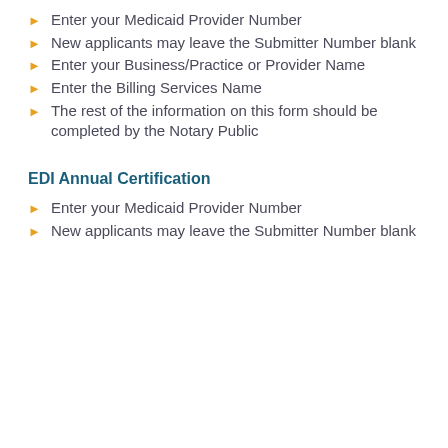Enter your Medicaid Provider Number
New applicants may leave the Submitter Number blank
Enter your Business/Practice or Provider Name
Enter the Billing Services Name
The rest of the information on this form should be completed by the Notary Public
EDI Annual Certification
Enter your Medicaid Provider Number
New applicants may leave the Submitter Number blank